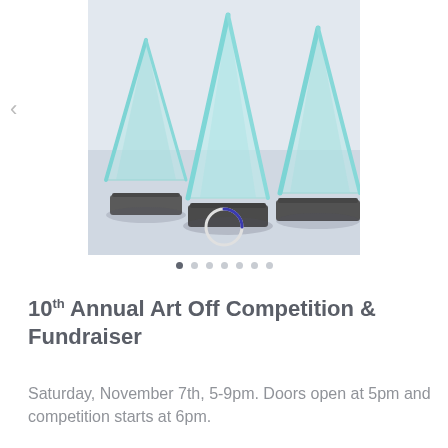[Figure (photo): Photo of glass crystal award trophies with dark bases arranged together, with a loading spinner overlay]
10th Annual Art Off Competition & Fundraiser
Saturday, November 7th, 5-9pm. Doors open at 5pm and competition starts at 6pm.